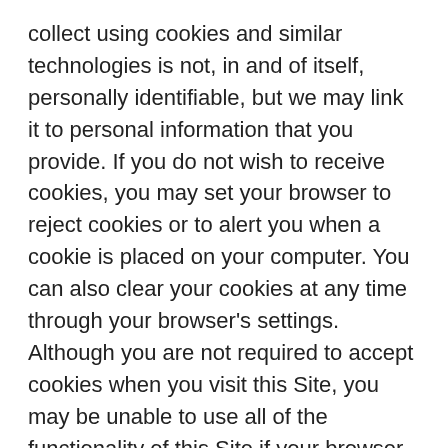collect using cookies and similar technologies is not, in and of itself, personally identifiable, but we may link it to personal information that you provide. If you do not wish to receive cookies, you may set your browser to reject cookies or to alert you when a cookie is placed on your computer. You can also clear your cookies at any time through your browser's settings. Although you are not required to accept cookies when you visit this Site, you may be unable to use all of the functionality of this Site if your browser rejects our cookies.
Your Choices
Information about Third-Party Cookies
In addition to the cookies Strategic America delivers to your computer or mobile device through this Site, certain third parties may deliver cookies to you for a variety of reasons. For example, we use Google